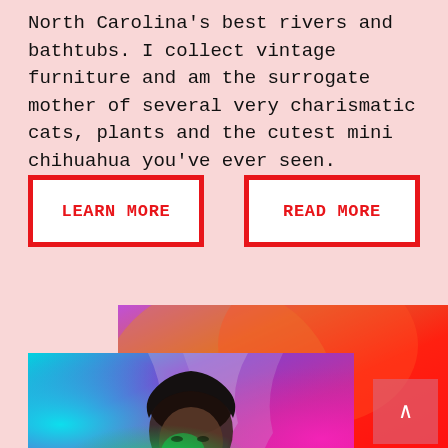North Carolina's best rivers and bathtubs. I collect vintage furniture and am the surrogate mother of several very charismatic cats, plants and the cutest mini chihuahua you've ever seen.
LEARN MORE
READ MORE
[Figure (photo): Colorful abstract gradient background in pink, orange, red tones overlapping with a photo of a person with colorful lighting (cyan, green, purple, magenta) illuminating their face and background]